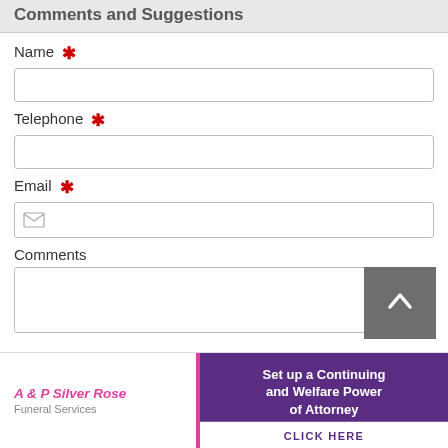Comments and Suggestions
Name *
Telephone *
Email *
Comments
[Figure (screenshot): Back to top scroll button (grey square with white chevron/arrow pointing up)]
[Figure (logo): A & P Silver Rose Funeral Services logo with pink text and pink vertical bar border]
[Figure (infographic): Purple banner advertisement: Set up a Continuing and Welfare Power of Attorney CLICK HERE]